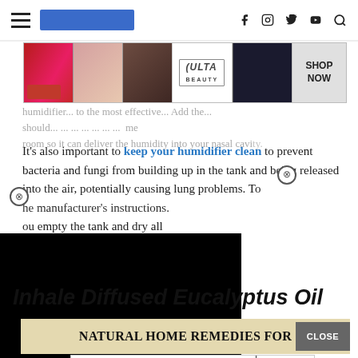Navigation bar with hamburger menu, logo, and social icons (f, Instagram, Twitter, YouTube, Search)
[Figure (advertisement): Ulta Beauty advertisement banner showing makeup/cosmetics imagery with 'SHOP NOW' call to action]
humidifier ... should ... room so it can deliver the humidity into your nasal cavity.
It's also important to keep your humidifier clean to prevent bacteria and fungi from building up in the tank and being released into the air, potentially causing lung problems. To ... the manufacturer's instructions. ...ou empty the tank and dry all ...ery day.
[Figure (other): Black overlay rectangle covering part of the page content (video or advertisement block)]
Inhale Diffused Eucalyptus Oil
[Figure (advertisement): Natural Home Remedies FOR banner advertisement in tan/beige background with CLOSE button]
[Figure (advertisement): Bloomingdales advertisement: 'View Today's Top Deals!' with SHOP NOW button and model photo]